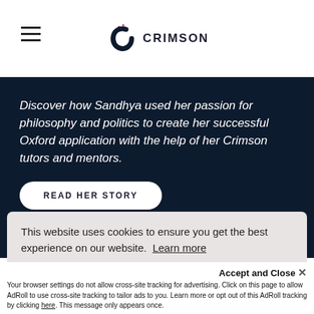CRIMSON (logo)
Discover how Sandhya used her passion for philosophy and politics to create her successful Oxford application with the help of her Crimson tutors and mentors.
READ HER STORY
This website uses cookies to ensure you get the best experience on our website. Learn more
Got it
Accept and Close ✕
Your browser settings do not allow cross-site tracking for advertising. Click on this page to allow AdRoll to use cross-site tracking to tailor ads to you. Learn more or opt out of this AdRoll tracking by clicking here. This message only appears once.